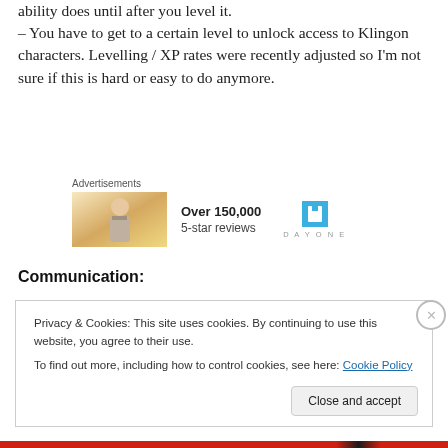ability does until after you level it.
– You have to get to a certain level to unlock access to Klingon characters. Levelling / XP rates were recently adjusted so I'm not sure if this is hard or easy to do anymore.
[Figure (illustration): Advertisement banner showing a person looking at a bright surface, with text 'Over 150,000 5-star reviews' and Day One app logo]
Communication:
Privacy & Cookies: This site uses cookies. By continuing to use this website, you agree to their use.
To find out more, including how to control cookies, see here: Cookie Policy